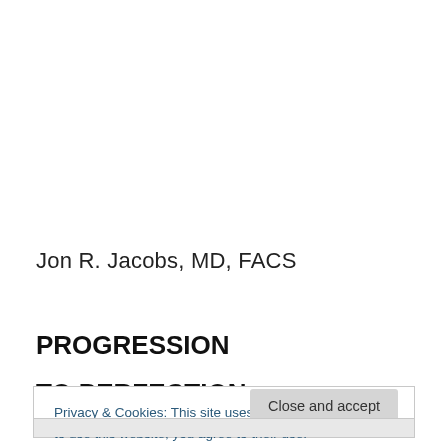Jon R. Jacobs, MD, FACS
PROGRESSION
TO PERFECTION
Privacy & Cookies: This site uses cookies. By continuing to use this website, you agree to their use.
To find out more, including how to control cookies, see here: Cookie Policy
Close and accept